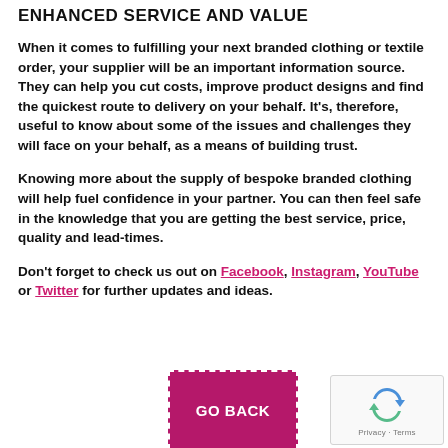ENHANCED SERVICE AND VALUE
When it comes to fulfilling your next branded clothing or textile order, your supplier will be an important information source. They can help you cut costs, improve product designs and find the quickest route to delivery on your behalf. It's, therefore, useful to know about some of the issues and challenges they will face on your behalf, as a means of building trust.
Knowing more about the supply of bespoke branded clothing will help fuel confidence in your partner. You can then feel safe in the knowledge that you are getting the best service, price, quality and lead-times.
Don't forget to check us out on Facebook, Instagram, YouTube or Twitter for further updates and ideas.
[Figure (other): Pink/magenta button with dashed white border and 'GO BACK' text in white]
[Figure (other): reCAPTCHA widget showing recycling arrows logo and Privacy/Terms text]